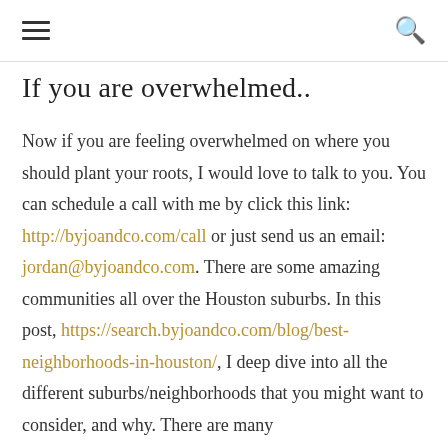≡   🔍
If you are overwhelmed..
Now if you are feeling overwhelmed on where you should plant your roots, I would love to talk to you. You can schedule a call with me by click this link: http://byjoandco.com/call or just send us an email: jordan@byjoandco.com. There are some amazing communities all over the Houston suburbs. In this post, https://search.byjoandco.com/blog/best-neighborhoods-in-houston/, I deep dive into all the different suburbs/neighborhoods that you might want to consider, and why. There are many